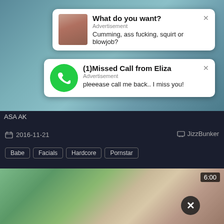[Figure (screenshot): Website screenshot showing adult content page with two overlay notifications and a video thumbnail]
What do you want?
Advertisement
Cumming, ass fucking, squirt or blowjob?
(1)Missed Call from Eliza
Advertisement
pleeease call me back.. I miss you!
ASA AK
2016-11-21
JizzBunker
Babe
Facials
Hardcore
Pornstar
6:00